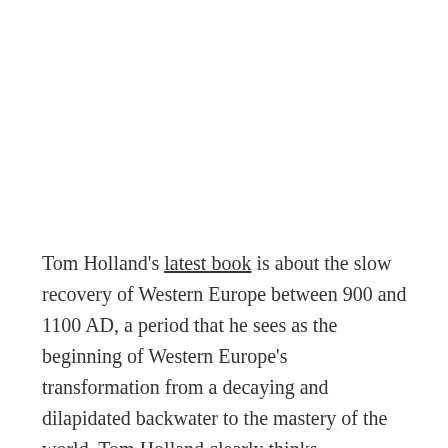Tom Holland's latest book is about the slow recovery of Western Europe between 900 and 1100 AD, a period that he sees as the beginning of Western Europe's transformation from a decaying and dilapidated backwater to the mastery of the world. Tom Holland clearly thinks Christianity had much to do with this rise and presents the violent elimination of paganism in Scandinavia and Eastern Europe as positive achievements of the age. This is mostly done not by direct editorializing; it is done by using the language of the invading Christians (not as quotes from ancient books but as the text of the book itself) to